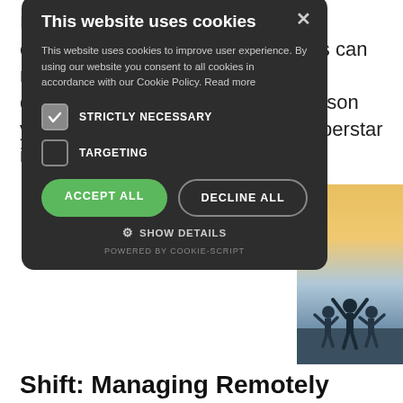Bad hiring decisions are the most expensive mistake hiring managers can make. There is nothing more disappointing than realizing the person you thought would be your next superstar isn't even a one-hit
[Figure (screenshot): Cookie consent modal dialog with dark background. Title: 'This website uses cookies'. Body text about cookie policy. Checkboxes for STRICTLY NECESSARY (checked) and TARGETING (unchecked). Buttons: ACCEPT ALL (green) and DECLINE ALL (outline). Show Details option and POWERED BY COOKIE-SCRIPT footer.]
[Figure (photo): Silhouettes of people with arms raised against a warm sunset sky with orange, yellow, and blue tones.]
Shift: Managing Remotely